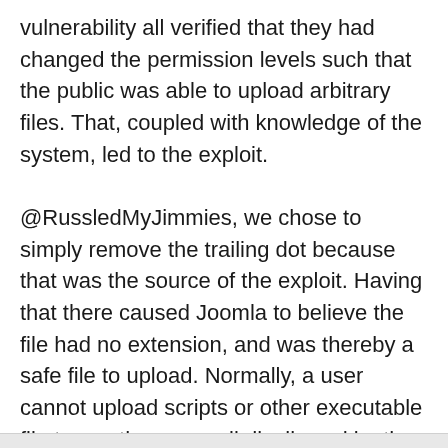vulnerability all verified that they had changed the permission levels such that the public was able to upload arbitrary files. That, coupled with knowledge of the system, led to the exploit. @RussledMyJimmies, we chose to simply remove the trailing dot because that was the source of the exploit. Having that there caused Joomla to believe the file had no extension, and was thereby a safe file to upload. Normally, a user cannot upload scripts or other executable file types; those are all disallowed by the media settings for allowed extensions. However, the problem still remains that website owners can choose to add “.php” to the allowed extensions list, this opening themselves back up to the exploit if they also allowed public access to the media manager. At that point, there’s not much the Joomla Project can do about it.